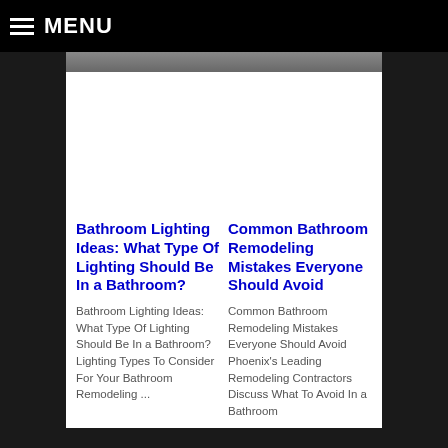MENU
Bathroom Lighting Ideas: What Type Of Lighting Should Be In a Bathroom?
Common Bathroom Remodeling Mistakes Everyone Should Avoid
Bathroom Lighting Ideas: What Type Of Lighting Should Be In a Bathroom? Lighting Types To Consider For Your Bathroom Remodeling ...
Common Bathroom Remodeling Mistakes Everyone Should Avoid Phoenix's Leading Remodeling Contractors Discuss What To Avoid In a Bathroom